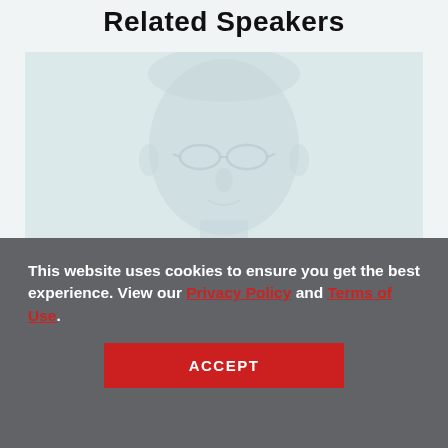Related Speakers
[Figure (photo): A faint, low-contrast headshot portrait of a person with glasses against a light teal-blue background]
This website uses cookies to ensure you get the best experience. View our Privacy Policy and Terms of Use.
ACCEPT